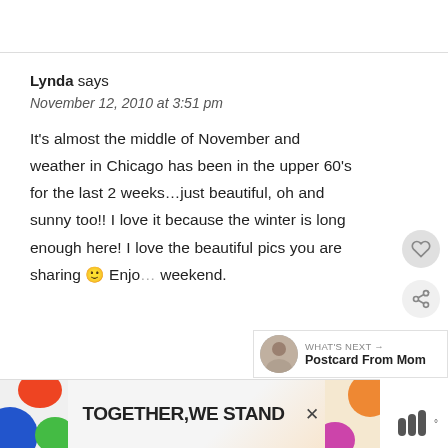Lynda says
November 12, 2010 at 3:51 pm
It’s almost the middle of November and weather in Chicago has been in the upper 60’s for the last 2 weeks…just beautiful, oh and sunny too!! I love it because the winter is long enough here! I love the beautiful pics you are sharing 🙂 Enjo… weekend.
[Figure (infographic): TOGETHER WE STAND advertisement banner with colorful abstract shapes on left and right, close button, and Wondery logo on far right]